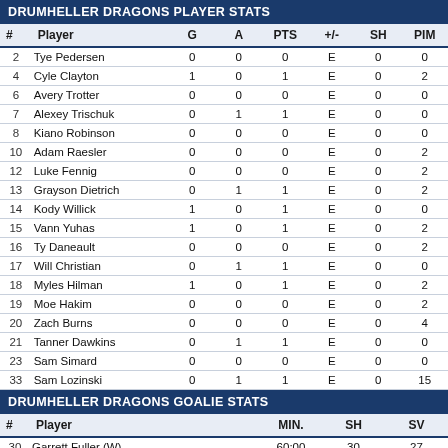DRUMHELLER DRAGONS PLAYER STATS
| # | Player | G | A | PTS | +/- | SH | PIM |
| --- | --- | --- | --- | --- | --- | --- | --- |
| 2 | Tye Pedersen | 0 | 0 | 0 | E | 0 | 0 |
| 4 | Cyle Clayton | 1 | 0 | 1 | E | 0 | 2 |
| 6 | Avery Trotter | 0 | 0 | 0 | E | 0 | 0 |
| 7 | Alexey Trischuk | 0 | 1 | 1 | E | 0 | 0 |
| 8 | Kiano Robinson | 0 | 0 | 0 | E | 0 | 0 |
| 10 | Adam Raesler | 0 | 0 | 0 | E | 0 | 2 |
| 12 | Luke Fennig | 0 | 0 | 0 | E | 0 | 2 |
| 13 | Grayson Dietrich | 0 | 1 | 1 | E | 0 | 2 |
| 14 | Kody Willick | 1 | 0 | 1 | E | 0 | 0 |
| 15 | Vann Yuhas | 1 | 0 | 1 | E | 0 | 2 |
| 16 | Ty Daneault | 0 | 0 | 0 | E | 0 | 2 |
| 17 | Will Christian | 0 | 1 | 1 | E | 0 | 0 |
| 18 | Myles Hilman | 1 | 0 | 1 | E | 0 | 2 |
| 19 | Moe Hakim | 0 | 0 | 0 | E | 0 | 2 |
| 20 | Zach Burns | 0 | 0 | 0 | E | 0 | 4 |
| 21 | Tanner Dawkins | 0 | 1 | 1 | E | 0 | 0 |
| 23 | Sam Simard | 0 | 0 | 0 | E | 0 | 0 |
| 33 | Sam Lozinski | 0 | 1 | 1 | E | 0 | 15 |
DRUMHELLER DRAGONS GOALIE STATS
| # | Player | MIN. | SH | SV |
| --- | --- | --- | --- | --- |
| 30 | Garrett Fuller (W) | 60:00 | 30 | 27 |